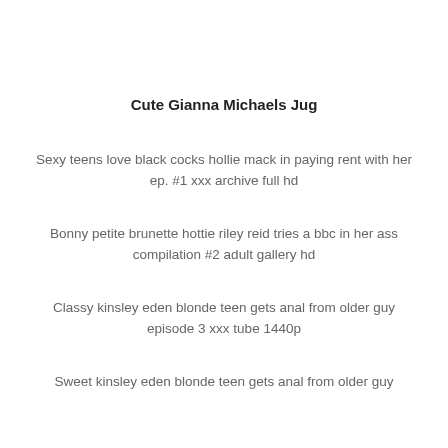Cute Gianna Michaels Jug
Sexy teens love black cocks hollie mack in paying rent with her ep. #1 xxx archive full hd
Bonny petite brunette hottie riley reid tries a bbc in her ass compilation #2 adult gallery hd
Classy kinsley eden blonde teen gets anal from older guy episode 3 xxx tube 1440p
Sweet kinsley eden blonde teen gets anal from older guy